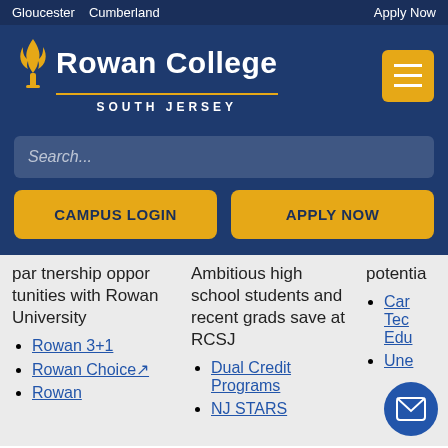Gloucester  Cumberland  Apply Now
[Figure (logo): Rowan College South Jersey logo with flame torch icon, white text on dark blue background, gold divider line]
Search...
CAMPUS LOGIN
APPLY NOW
partnership opportunities with Rowan University
Rowan 3+1
Rowan Choice
Rowan...
Ambitious high school students and recent grads save at RCSJ
Dual Credit Programs
NJ STARS
potentia
Car... Tec... Edu...
Une...